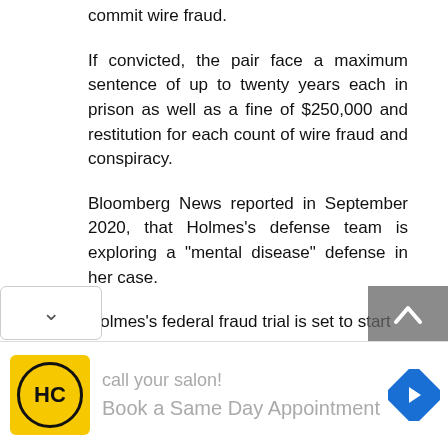commit wire fraud.
If convicted, the pair face a maximum sentence of up to twenty years each in prison as well as a fine of $250,000 and restitution for each count of wire fraud and conspiracy.
Bloomberg News reported in September 2020, that Holmes’s defense team is exploring a “mental disease” defense in her case.
Holmes’s federal fraud trial is set to start
[Figure (screenshot): Advertisement banner for salon booking app with HC logo, 'call your salon!' text, and 'Book a Same Day Appointment' text with navigation arrow icon]